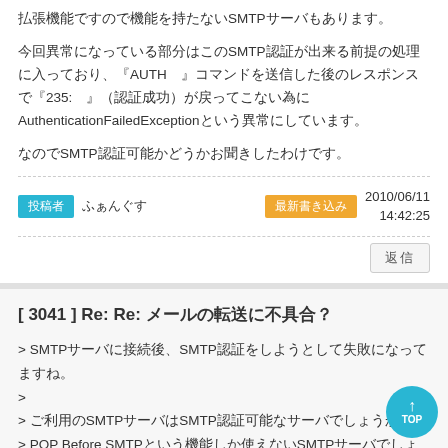払張機能ですので機能を持たないSMTPサーバもあります。
今回異常になっている部分はこのSMTP認証が出来る前提の処理に入っており、『AUTH　』コマンドを送信した後のレスポンスで『235:　』（認証成功）が戻ってこない為にAuthenticationFailedExceptionという異常にしています。
なのでSMTP認証可能かどうかお聞きしたわけです。
投稿者　ふぁんぐす　最新書き込み　2010/06/11 14:42:25
返信
[ 3041 ] Re: Re: メールの転送に不具合？
> SMTPサーバに接続後、SMTP認証をしようとして失敗になってますね。
>
> ご利用のSMTPサーバはSMTP認証可能なサーバでしょうか？
> POP Before SMTPという機能しか使えないSMTPサーバでしょうか？